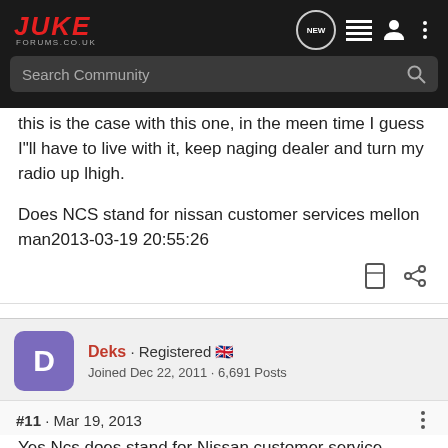JUKE FORUMS.CO.UK
this is the case with this one, in the meen time I guess I"ll have to live with it, keep naging dealer and turn my radio up lhigh.
Does NCS stand for nissan customer services mellon man2013-03-19 20:55:26
Deks · Registered 🇬🇧
Joined Dec 22, 2011 · 6,691 Posts
#11 · Mar 19, 2013
Yes Ncs does stand for Nissan customer service